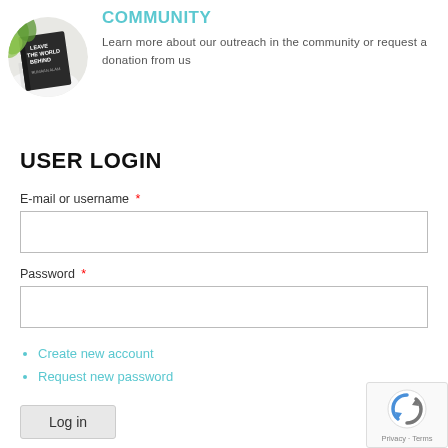[Figure (photo): Circular cropped photo of a book titled 'Leave The World Behind' by Rumaan Alam, placed on a white surface with green plant foliage nearby.]
COMMUNITY
Learn more about our outreach in the community or request a donation from us
USER LOGIN
E-mail or username *
Password *
Create new account
Request new password
Log in